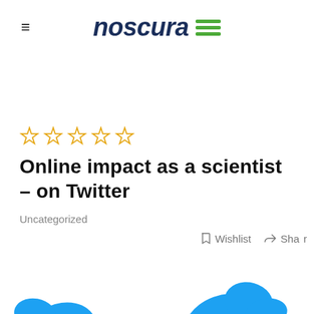noscura
Online impact as a scientist – on Twitter
Uncategorized
[Figure (illustration): Twitter bird logos in blue at the bottom of the page]